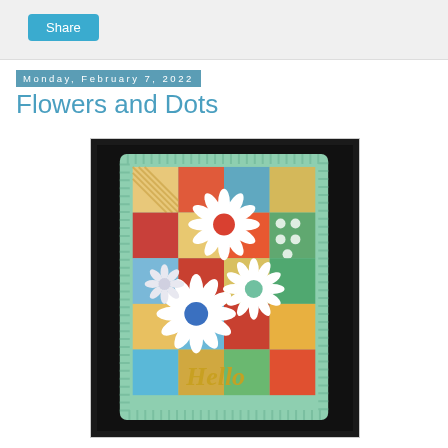Share
Monday, February 7, 2022
Flowers and Dots
[Figure (photo): A handmade greeting card with a patchwork background in red, teal, green, and orange patterns, decorated with three large white daisy flowers with colorful centers (red, teal, and blue), and a gold cursive 'Hello' sentiment, framed with a mint green dotted border.]